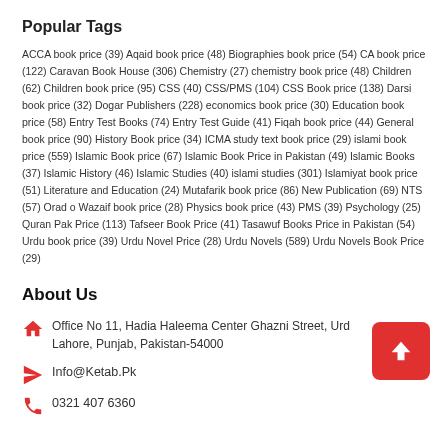Popular Tags
ACCA book price (39) Aqaid book price (48) Biographies book price (54) CA book price (122) Caravan Book House (306) Chemistry (27) chemistry book price (48) Children (62) Children book price (95) CSS (40) CSS/PMS (104) CSS Book price (138) Darsi book price (32) Dogar Publishers (228) economics book price (30) Education book price (58) Entry Test Books (74) Entry Test Guide (41) Fiqah book price (44) General book price (90) History Book price (34) ICMA study text book price (29) islami book price (559) Islamic Book price (67) Islamic Book Price in Pakistan (49) Islamic Books (37) Islamic History (46) Islamic Studies (40) islami studies (301) Islamiyat book price (51) Literature and Education (24) Mutafarik book price (86) New Publication (69) NTS (57) Orad o Wazaif book price (28) Physics book price (43) PMS (39) Psychology (25) Quran Pak Price (113) Tafseer Book Price (41) Tasawuf Books Price in Pakistan (54) Urdu book price (39) Urdu Novel Price (28) Urdu Novels (589) Urdu Novels Book Price (29)
About Us
Office No 11, Hadia Haleema Center Ghazni Street, Urd Lahore, Punjab, Pakistan-54000
Info@Ketab.Pk
0321 407 6360